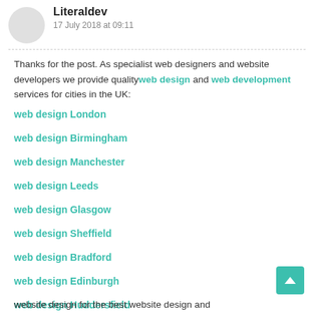Literaldev — 17 July 2018 at 09:11
Thanks for the post. As specialist web designers and website developers we provide quality web design and web development services for cities in the UK:
web design London
web design Birmingham
web design Manchester
web design Leeds
web design Glasgow
web design Sheffield
web design Bradford
web design Edinburgh
web design Huddersfield
website design for the best website design and…